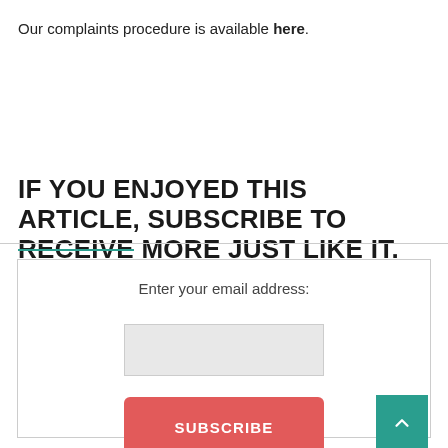Our complaints procedure is available here.
IF YOU ENJOYED THIS ARTICLE, SUBSCRIBE TO RECEIVE MORE JUST LIKE IT.
Enter your email address:
SUBSCRIBE
Delivered by FeedBurner